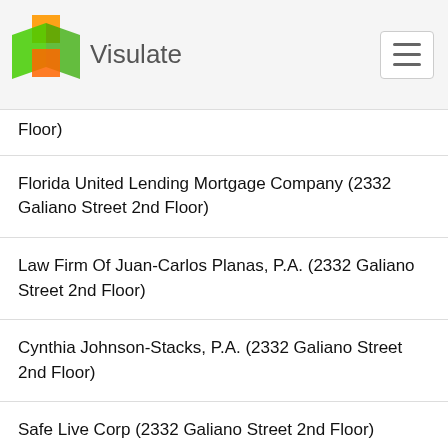Visulate
Floor)
Florida United Lending Mortgage Company (2332 Galiano Street 2nd Floor)
Law Firm Of Juan-Carlos Planas, P.A. (2332 Galiano Street 2nd Floor)
Cynthia Johnson-Stacks, P.A. (2332 Galiano Street 2nd Floor)
Safe Live Corp (2332 Galiano Street 2nd Floor)
R.M.A. Adjusters & Appraisers, Inc. (2332 Galiano Street 2nd Floor)
Cetoute Investments LLC (2332 Galiano Street 2nd Floor)
Ems 20 LLC (2332 Galiano Street 2nd Floor)
American Dream, LLC (2332 Galiano Street 2nd Floor)